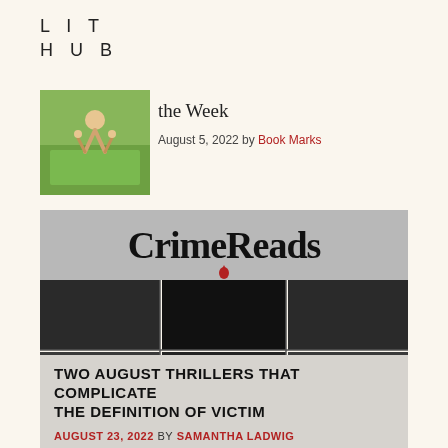LIT HUB
the Week
August 5, 2022 by Book Marks
[Figure (photo): Small thumbnail photo of a person doing a handstand outdoors in a green field]
[Figure (illustration): CrimeReads logo on grey background with a red blood drop, above a 3x2 checkerboard grid pattern of dark and darker grey rectangles]
TWO AUGUST THRILLERS THAT COMPLICATE THE DEFINITION OF VICTIM
AUGUST 23, 2022 BY SAMANTHA LADWIG